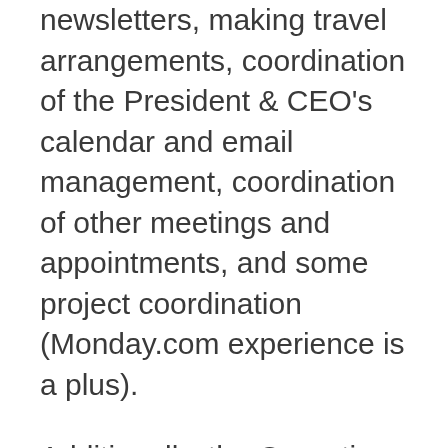newsletters, making travel arrangements, coordination of the President & CEO's calendar and email management, coordination of other meetings and appointments, and some project coordination (Monday.com experience is a plus).
Additionally, the Operations Manager will be responsible for maintaining manual and electronic filing systems, data maintenance and entry (Salesforce experience is a bonus), office equipment, and the firm's website. This new member of the firm